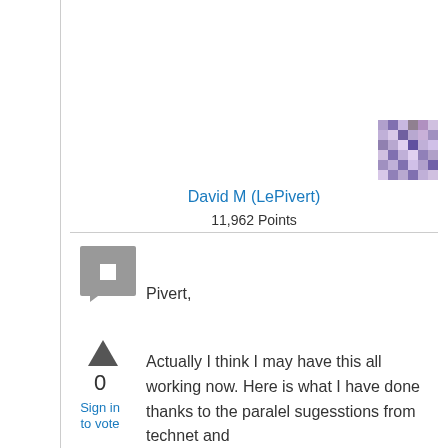David M (LePivert)
11,962 Points
[Figure (illustration): Mosaic/pixel avatar image in purple tones]
[Figure (illustration): Gray chat/comment icon square]
[Figure (illustration): Upvote arrow icon]
0
Sign in to vote
Pivert,
Actually I think I may have this all working now. Here is what I have done thanks to the paralel sugesstions from technet and